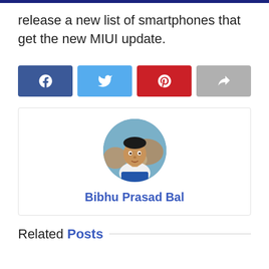release a new list of smartphones that get the new MIUI update.
[Figure (infographic): Social share buttons: Facebook (blue), Twitter (light blue), Pinterest (red), Share (gray)]
[Figure (photo): Circular author avatar photo of Bibhu Prasad Bal, a man outdoors with rocks in the background]
Bibhu Prasad Bal
Related Posts